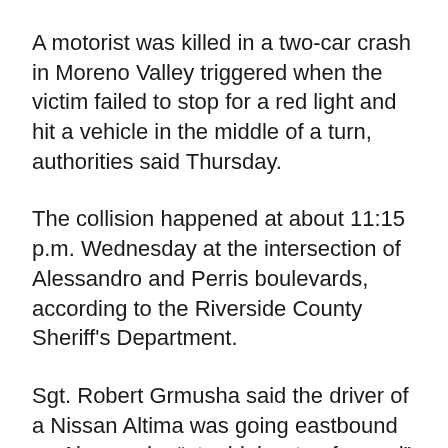A motorist was killed in a two-car crash in Moreno Valley triggered when the victim failed to stop for a red light and hit a vehicle in the middle of a turn, authorities said Thursday.
The collision happened at about 11:15 p.m. Wednesday at the intersection of Alessandro and Perris boulevards, according to the Riverside County Sheriff's Department.
Sgt. Robert Grmusha said the driver of a Nissan Altima was going eastbound on Alessandro “at a high rate of speed” and failed